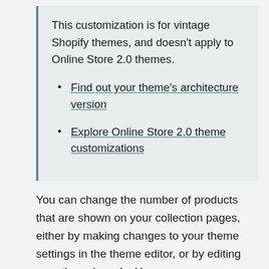This customization is for vintage Shopify themes, and doesn't apply to Online Store 2.0 themes.
Find out your theme's architecture version
Explore Online Store 2.0 theme customizations
You can change the number of products that are shown on your collection pages, either by making changes to your theme settings in the theme editor, or by editing your theme's code. You can